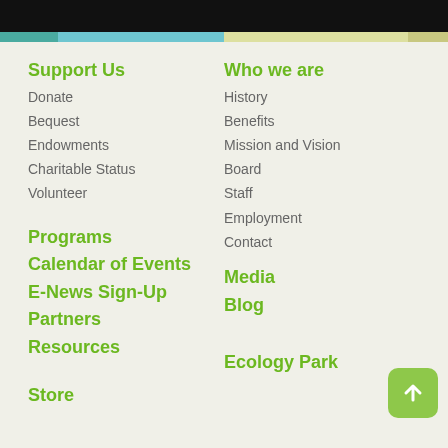Support Us
Donate
Bequest
Endowments
Charitable Status
Volunteer
Programs
Calendar of Events
E-News Sign-Up
Partners
Resources
Store
Who we are
History
Benefits
Mission and Vision
Board
Staff
Employment
Contact
Media
Blog
Ecology Park